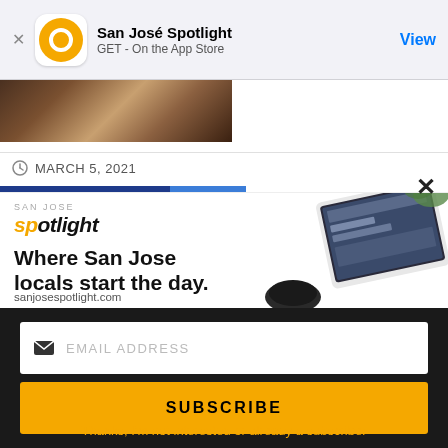San José Spotlight
GET - On the App Store
View
[Figure (photo): Partial article thumbnail image showing a crowd scene]
MARCH 5, 2021
[Figure (infographic): San José Spotlight advertisement banner. Logo reads 'san jose spotlight'. Tagline: Where San Jose locals start the day. sanjosespotlight.com. Image shows a tablet/iPad with the app.]
EMAIL ADDRESS
SUBSCRIBE
Thanks, I'm not interested or already a subscriber